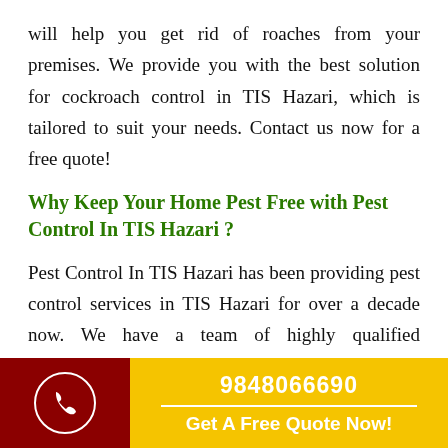will help you get rid of roaches from your premises. We provide you with the best solution for cockroach control in TIS Hazari, which is tailored to suit your needs. Contact us now for a free quote!
Why Keep Your Home Pest Free with Pest Control In TIS Hazari ?
Pest Control In TIS Hazari has been providing pest control services in TIS Hazari for over a decade now. We have a team of highly qualified professionals with expertise and knowledge to provide pest control services
9848066690
Get A Free Quote Now!